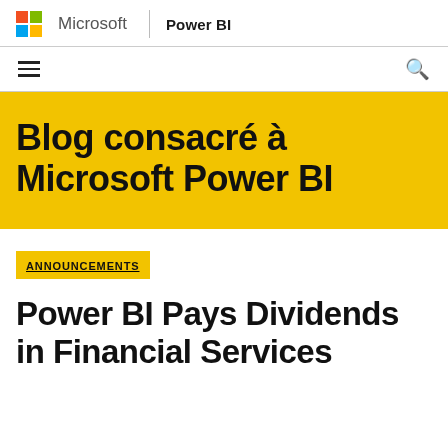Microsoft | Power BI
Blog consacré à Microsoft Power BI
ANNOUNCEMENTS
Power BI Pays Dividends in Financial Services